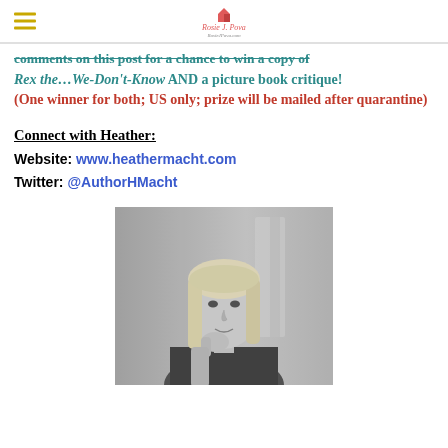Rosie J. Pova
comments on this post for a chance to win a copy of Rex the…We-Don't-Know AND a picture book critique! (One winner for both; US only; prize will be mailed after quarantine)
Connect with Heather:
Website: www.heathermacht.com
Twitter: @AuthorHMacht
[Figure (photo): Black and white portrait photo of a blonde woman (Heather Macht) resting her chin on her hand, smiling slightly, with a blurred background.]